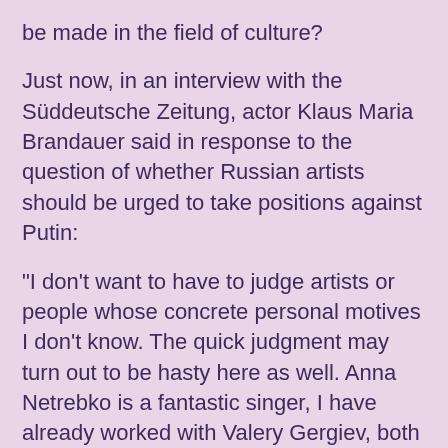be made in the field of culture?
Just now, in an interview with the Süddeutsche Zeitung, actor Klaus Maria Brandauer said in response to the question of whether Russian artists should be urged to take positions against Putin:
"I don't want to have to judge artists or people whose concrete personal motives I don't know. The quick judgment may turn out to be hasty here as well. Anna Netrebko is a fantastic singer, I have already worked with Valery Gergiev, both in Graz and in Munich, and he is a great conductor. Whether it is necessary for reasons of state not to work with them anymore, I don't know. But I remember that during the Cold War we were not so demanding in this respect towards artists from the Eastern bloc, at that time culture was a